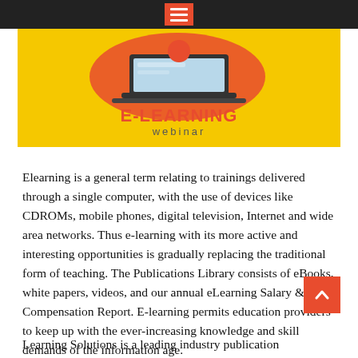[Figure (illustration): E-Learning webinar banner with yellow background, laptop illustration, and red E-LEARNING text with 'webinar' subtitle]
Elearning is a general term relating to trainings delivered through a single computer, with the use of devices like CDROMs, mobile phones, digital television, Internet and wide area networks. Thus e-learning with its more active and interesting opportunities is gradually replacing the traditional form of teaching. The Publications Library consists of eBooks, white papers, videos, and our annual eLearning Salary & Compensation Report. E-learning permits education providers to keep up with the ever-increasing knowledge and skill demands of the information age.
Learning Solutions is a leading industry publication